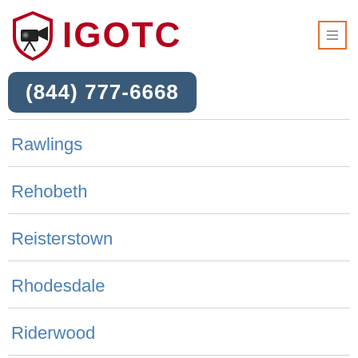[Figure (logo): IGOTC logo with security camera icon in red/dark shield shape and red bold text IGOTC]
(844) 777-6668
Rawlings
Rehobeth
Reisterstown
Rhodesdale
Riderwood
Ridge